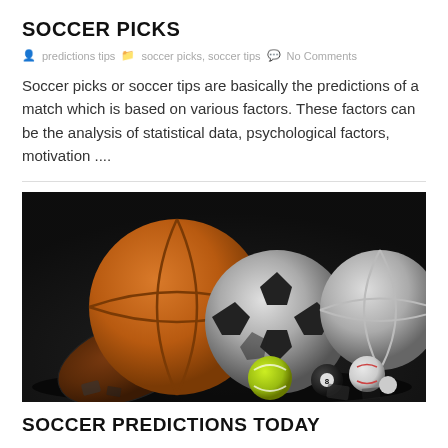SOCCER PICKS
predictions tips   soccer picks, soccer tips   No Comments
Soccer picks or soccer tips are basically the predictions of a match which is based on various factors. These factors can be the analysis of statistical data, psychological factors, motivation ....
[Figure (photo): A dark-backgrounded photograph showing multiple sports balls: a basketball, soccer ball, volleyball, american football, tennis ball, billiard ball, baseball, and others arranged together on a dark surface]
SOCCER PREDICTIONS TODAY